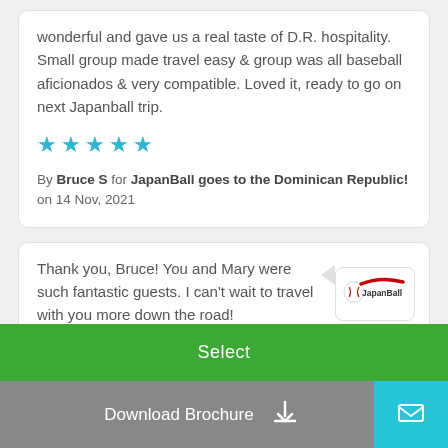wonderful and gave us a real taste of D.R. hospitality. Small group made travel easy & group was all baseball aficionados & very compatible. Loved it, ready to go on next Japanball trip.
[Figure (other): Five cyan star rating icons]
By Bruce S for JapanBall goes to the Dominican Republic! on 14 Nov, 2021
Thank you, Bruce! You and Mary were such fantastic guests. I can't wait to travel with you more down the road!
[Figure (logo): JapanBall logo with baseball and red swoosh]
Select
Download Brochure